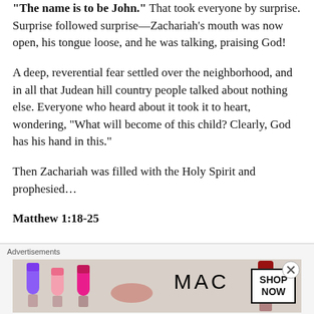"The name is to be John." That took everyone by surprise. Surprise followed surprise—Zachariah's mouth was now open, his tongue loose, and he was talking, praising God!
A deep, reverential fear settled over the neighborhood, and in all that Judean hill country people talked about nothing else. Everyone who heard about it took it to heart, wondering, "What will become of this child? Clearly, God has his hand in this."
Then Zachariah was filled with the Holy Spirit and prophesied…
Matthew 1:18-25
[Figure (other): MAC Cosmetics advertisement showing lipsticks in purple, pink, and red colors with 'Advertisements' label and 'SHOP NOW' button. Close/dismiss button in top right.]